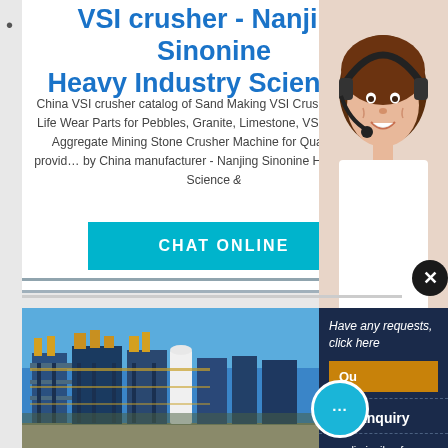VSI crusher - Nanjing Sinonine Heavy Industry Science ...
China VSI crusher catalog of Sand Making VSI Crusher with Long Life Wear Parts for Pebbles, Granite, Limestone, VSI Sand Maker Aggregate Mining Stone Crusher Machine for Quarry Mining provid… by China manufacturer - Nanjing Sinonine Heavy Industry Science &
[Figure (other): CHAT ONLINE button in teal/cyan color]
[Figure (photo): Customer service representative woman wearing headset, smiling]
[Figure (photo): Industrial factory facility with blue steel structures against blue sky]
Have any requests, click here
Quo[te]
Enquiry
limingjlmofen@sina.com